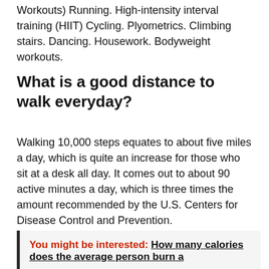Workouts) Running. High-intensity interval training (HIIT) Cycling. Plyometrics. Climbing stairs. Dancing. Housework. Bodyweight workouts.
What is a good distance to walk everyday?
Walking 10,000 steps equates to about five miles a day, which is quite an increase for those who sit at a desk all day. It comes out to about 90 active minutes a day, which is three times the amount recommended by the U.S. Centers for Disease Control and Prevention.
You might be interested: How many calories does the average person burn a